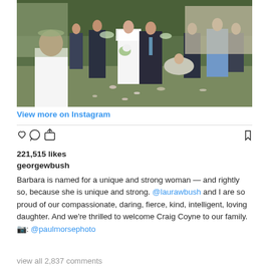[Figure (photo): Wedding photo showing a bride in white dress and veil holding bouquet, walking with a man in dark suit (father of bride), with wedding guests watching including a young girl with flower crown in foreground, outdoor garden setting with flower petals on grass]
View more on Instagram
[Figure (infographic): Instagram action icons: heart (like), speech bubble (comment), share arrow, and bookmark]
221,515 likes
georgewbush
Barbara is named for a unique and strong woman — and rightly so, because she is unique and strong. @laurawbush and I are so proud of our compassionate, daring, fierce, kind, intelligent, loving daughter. And we're thrilled to welcome Craig Coyne to our family. 📷: @paulmorsephoto
view all 2,837 comments